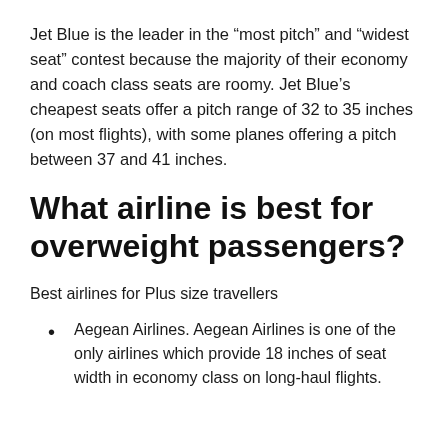Jet Blue is the leader in the “most pitch” and “widest seat” contest because the majority of their economy and coach class seats are roomy. Jet Blue’s cheapest seats offer a pitch range of 32 to 35 inches (on most flights), with some planes offering a pitch between 37 and 41 inches.
What airline is best for overweight passengers?
Best airlines for Plus size travellers
Aegean Airlines. Aegean Airlines is one of the only airlines which provide 18 inches of seat width in economy class on long-haul flights.